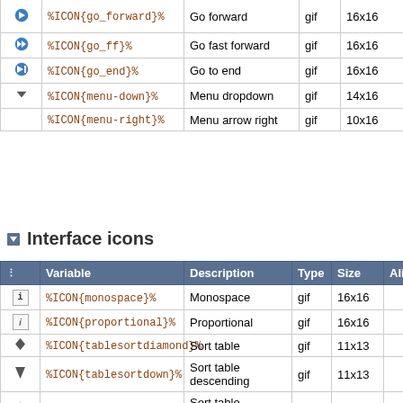|  | Variable | Description | Type | Size |
| --- | --- | --- | --- | --- |
| [go_forward icon] | %ICON{go_forward}% | Go forward | gif | 16x16 |
| [go_ff icon] | %ICON{go_ff}% | Go fast forward | gif | 16x16 |
| [go_end icon] | %ICON{go_end}% | Go to end | gif | 16x16 |
| [menu-down icon] | %ICON{menu-down}% | Menu dropdown | gif | 14x16 |
|  | %ICON{menu-right}% | Menu arrow right | gif | 10x16 |
Interface icons
|  | Variable | Description | Type | Size | Alias |
| --- | --- | --- | --- | --- | --- |
| [monospace icon] | %ICON{monospace}% | Monospace | gif | 16x16 |  |
| [proportional icon] | %ICON{proportional}% | Proportional | gif | 16x16 |  |
| [tablesortdiamond icon] | %ICON{tablesortdiamond}% | Sort table | gif | 11x13 |  |
| [tablesortdown icon] | %ICON{tablesortdown}% | Sort table descending | gif | 11x13 |  |
| [tablesortup icon] | %ICON{tablesortup}% | Sort table ascending | gif | 11x13 |  |